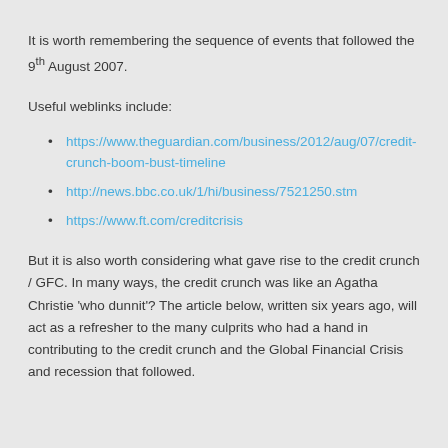It is worth remembering the sequence of events that followed the 9th August 2007.
Useful weblinks include:
https://www.theguardian.com/business/2012/aug/07/credit-crunch-boom-bust-timeline
http://news.bbc.co.uk/1/hi/business/7521250.stm
https://www.ft.com/creditcrisis
But it is also worth considering what gave rise to the credit crunch / GFC. In many ways, the credit crunch was like an Agatha Christie 'who dunnit'? The article below, written six years ago, will act as a refresher to the many culprits who had a hand in contributing to the credit crunch and the Global Financial Crisis and recession that followed.